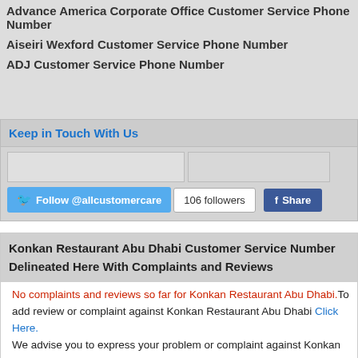Advance America Corporate Office Customer Service Phone Number
Aiseiri Wexford Customer Service Phone Number
ADJ Customer Service Phone Number
Keep in Touch With Us
[Figure (screenshot): Twitter Follow @allcustomercare button with 106 followers count and Facebook Share button]
Konkan Restaurant Abu Dhabi Customer Service Number Delineated Here With Complaints and Reviews
No complaints and reviews so far for Konkan Restaurant Abu Dhabi.To add review or complaint against Konkan Restaurant Abu Dhabi Click Here. We advise you to express your problem or complaint against Konkan Restaurant Abu Dhabi. be mentioned in your comment,
[Figure (screenshot): Post Your Complaint button with pencil/notepad icon]